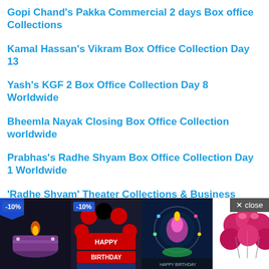Gopi Chand's Pakka Commercial 2 days Box office Collections
Kamal Hassan's Vikram Box Office Collection Day 13
Yash's KGF 2 Box Office Collection Day 8 Worldwide
Bheemla Nayak Closing Box Office Collection worldwide
Prabhas's Radhe Shyam Box Office Collection Day 1 Worldwide
'Radhe Shyam' Theater Collections & Business Details!
[Figure (photo): Advertisement banner showing birthday-themed products: birthday cake with candle, happy birthday balloon decoration, rotating birthday candle, pink metallic balloons, and a small circular black product image. Some items show -10% discount badge.]